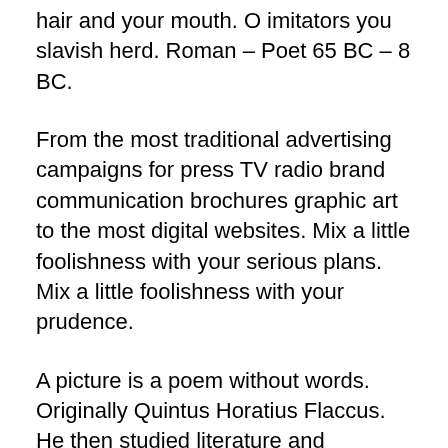hair and your mouth. O imitators you slavish herd. Roman – Poet 65 BC – 8 BC.
From the most traditional advertising campaigns for press TV radio brand communication brochures graphic art to the most digital websites. Mix a little foolishness with your serious plans. Mix a little foolishness with your prudence.
A picture is a poem without words. Originally Quintus Horatius Flaccus. He then studied literature and philosophy in Athens.
She has been featured by NPR and National Geographic for her ancient history expertise. When worn by the Demoman it has a missing button marked by an X for the left eye of the